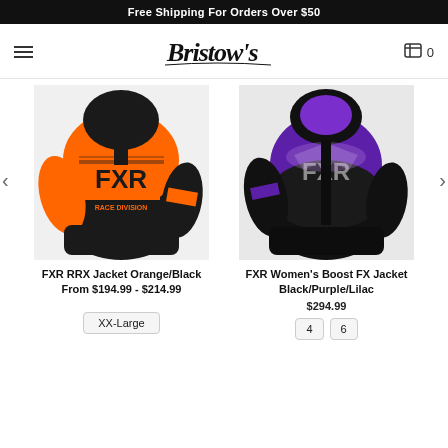Free Shipping For Orders Over $50
[Figure (logo): Bristow's store logo in cursive script]
[Figure (photo): FXR RRX Jacket in Orange and Black colorway, front view on model]
FXR RRX Jacket Orange/Black
From $194.99 - $214.99
XX-Large
[Figure (photo): FXR Women's Boost FX Jacket in Black/Purple/Lilac colorway, front view on model]
FXR Women's Boost FX Jacket Black/Purple/Lilac
$294.99
4  6